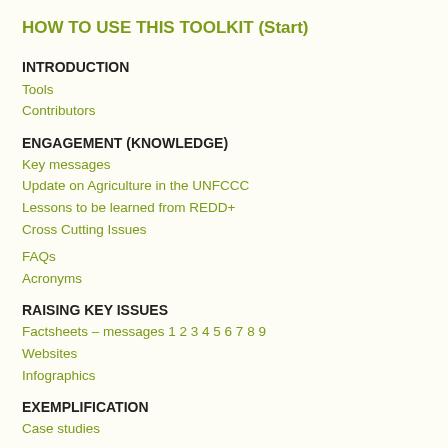HOW TO USE THIS TOOLKIT (Start)
INTRODUCTION
Tools
Contributors
ENGAGEMENT (KNOWLEDGE)
Key messages
Update on Agriculture in the UNFCCC
Lessons to be learned from REDD+
Cross Cutting Issues
FAQs
Acronyms
RAISING KEY ISSUES
Factsheets – messages 1 2 3 4 5 6 7 8 9
Websites
Infographics
EXEMPLIFICATION
Case studies